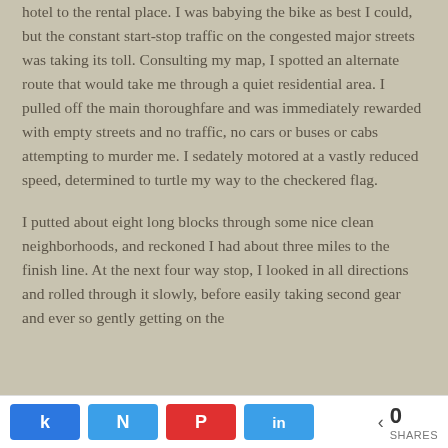hotel to the rental place. I was babying the bike as best I could, but the constant start-stop traffic on the congested major streets was taking its toll. Consulting my map, I spotted an alternate route that would take me through a quiet residential area. I pulled off the main thoroughfare and was immediately rewarded with empty streets and no traffic, no cars or buses or cabs attempting to murder me. I sedately motored at a vastly reduced speed, determined to turtle my way to the checkered flag.
I putted about eight long blocks through some nice clean neighborhoods, and reckoned I had about three miles to the finish line. At the next four way stop, I looked in all directions and rolled through it slowly, before easily taking second gear and ever so gently getting on the
Share buttons: Facebook, Twitter, Pinterest, LinkedIn — 0 SHARES